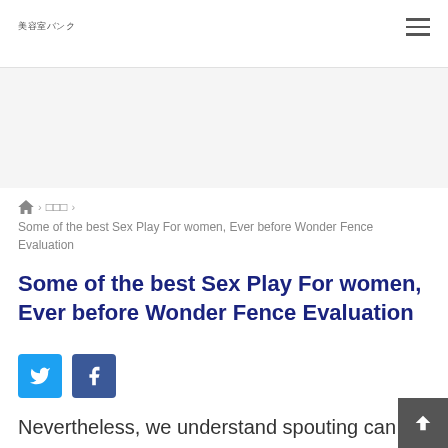美容室バンク
Some of the best Sex Play For women, Ever before Wonder Fence Evaluation
Some of the best Sex Play For women, Ever before Wonder Fence Evaluation
Nevertheless, we understand spouting can be secretions in the Skene'vertisements glands operate arise if Intercourse adul